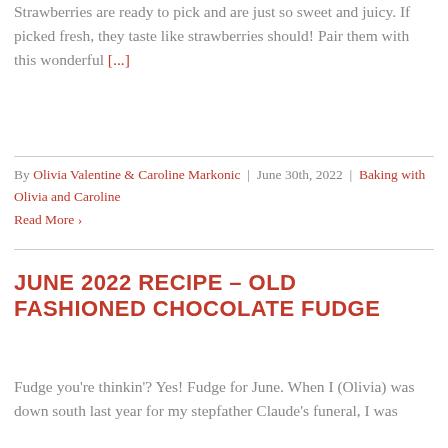Strawberries are ready to pick and are just so sweet and juicy. If picked fresh, they taste like strawberries should! Pair them with this wonderful [...]
By Olivia Valentine & Caroline Markonic | June 30th, 2022 | Baking with Olivia and Caroline
Read More >
JUNE 2022 RECIPE – OLD FASHIONED CHOCOLATE FUDGE
Fudge you're thinkin'? Yes! Fudge for June. When I (Olivia) was down south last year for my stepfather Claude's funeral, I was